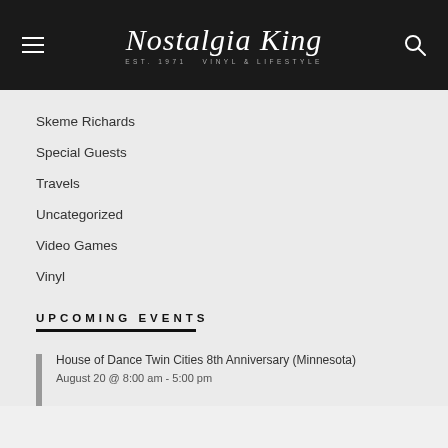Nostalgia King — EST. 1971 VINYL & LIFESTYLE
Skeme Richards
Special Guests
Travels
Uncategorized
Video Games
Vinyl
UPCOMING EVENTS
House of Dance Twin Cities 8th Anniversary (Minnesota)
August 20 @ 8:00 am - 5:00 pm